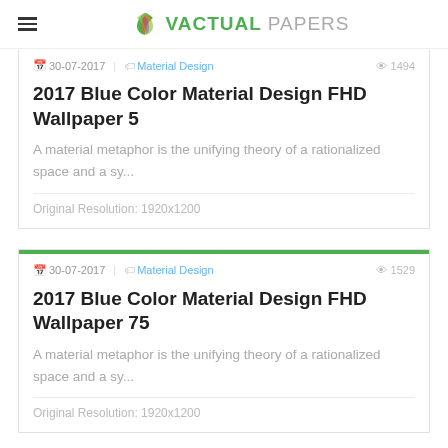VACTUAL PAPERS
30-07-2017 | Material Design  1494
2017 Blue Color Material Design FHD Wallpaper 5
A material metaphor is the unifying theory of a rationalized space and a sy...
Original Resolution: 1920x1200
30-07-2017 | Material Design  1529
2017 Blue Color Material Design FHD Wallpaper 75
A material metaphor is the unifying theory of a rationalized space and a sy...
Original Resolution: 1920x1200